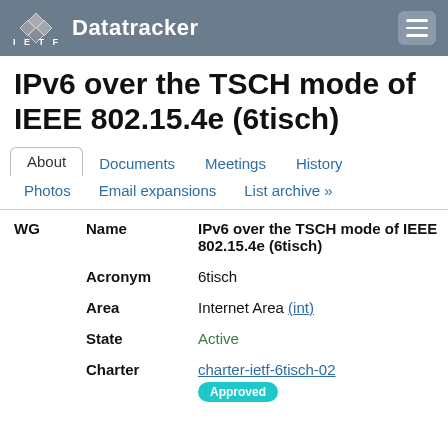IETF Datatracker
IPv6 over the TSCH mode of IEEE 802.15.4e (6tisch)
About
Documents
Meetings
History
Photos
Email expansions
List archive »
| WG |  |  |
| --- | --- | --- |
|  | Name | IPv6 over the TSCH mode of IEEE 802.15.4e (6tisch) |
|  | Acronym | 6tisch |
|  | Area | Internet Area (int) |
|  | State | Active |
|  | Charter | charter-ietf-6tisch-02 Approved |